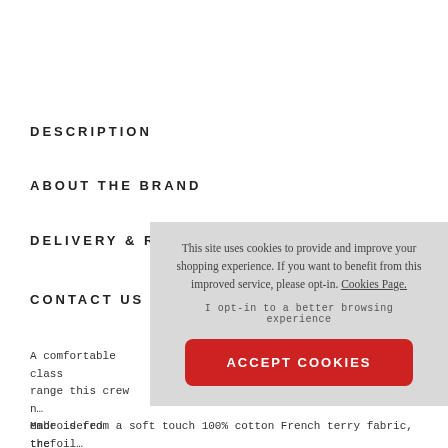DESCRIPTION
ABOUT THE BRAND
DELIVERY & R…
CONTACT US
This site uses cookies to provide and improve your shopping experience. If you want to benefit from this improved service, please opt-in. Cookies Page.
I opt-in to a better browsing experience
ACCEPT COOKIES
A comfortable class… range this crew n… embroidered trefoil…
Made is from a soft touch 100% cotton French terry fabric, the